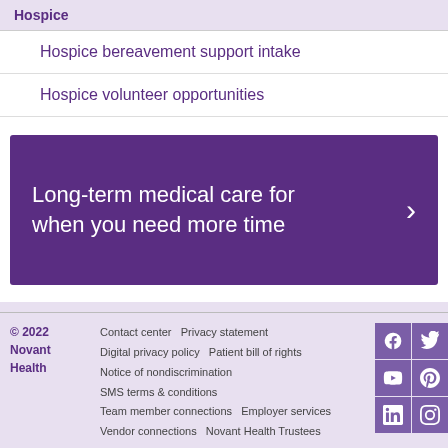Hospice
Hospice bereavement support intake
Hospice volunteer opportunities
[Figure (infographic): Purple banner with text: Long-term medical care for when you need more time, with a right chevron arrow]
© 2022 Novant Health  Contact center  Privacy statement  Digital privacy policy  Patient bill of rights  Notice of nondiscrimination  SMS terms & conditions  Team member connections  Employer services  Vendor connections  Novant Health Trustees